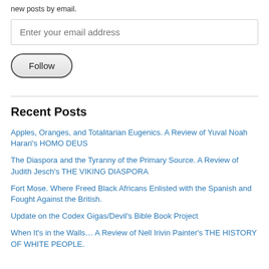new posts by email.
Enter your email address
Follow
Recent Posts
Apples, Oranges, and Totalitarian Eugenics. A Review of Yuval Noah Harari's HOMO DEUS
The Diaspora and the Tyranny of the Primary Source. A Review of Judith Jesch's THE VIKING DIASPORA
Fort Mose. Where Freed Black Africans Enlisted with the Spanish and Fought Against the British.
Update on the Codex Gigas/Devil's Bible Book Project
When It's in the Walls… A Review of Nell Irivin Painter's THE HISTORY OF WHITE PEOPLE.